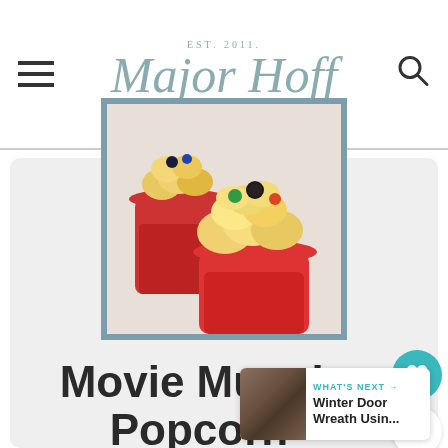EST 2011 — Major Hoff Takes a Wife
[Figure (photo): Two red cups filled with caramel popcorn mixed with colorful M&Ms candies, on a light background]
Movie Munch Popcorn
A quick popcorn snack for time you are craving salty and
WHAT'S NEXT → Winter Door Wreath Usin...